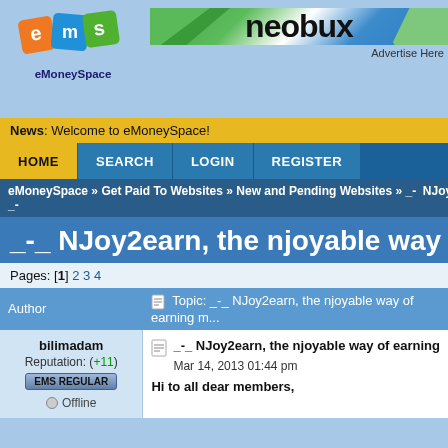[Figure (logo): eMoneySpace logo with colored diamond shapes (orange e, blue m, green s) and text 'eMoneySpace' below]
[Figure (screenshot): Neobux banner advertisement with green, white and blue sections showing 'neobux' text and 'Advertise Here' text]
News: Welcome to eMoneySpace!
HOME | SEARCH | LOGIN | REGISTER
eMoneySpace » Get Paid To Websites » New and Pending Websites » _- NJoy2earn _-
_-_ NJoy2earn, the njoyable way of earning money _-_
Pages: [1] 2 3 4
| Author | Topic: _-_ NJoy2earn, the njoyable way of earning m... |
| --- | --- |
| bilimadam
Reputation: (+11)
EMS REGULAR
Offline | _-_ NJoy2earn, the njoyable way of earning ...
Mar 14, 2013 01:44 pm
Hi to all dear members, |